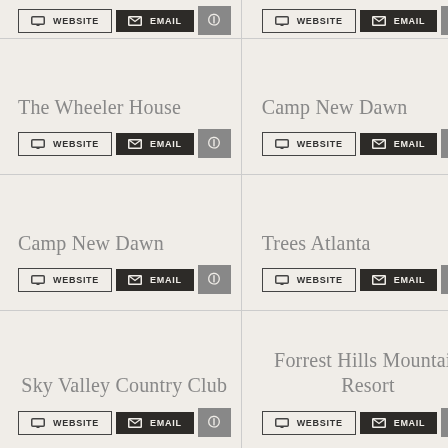WEBSITE | EMAIL | ?
WEBSITE | EMAIL | ?
The Wheeler House
WEBSITE | EMAIL | ?
Camp New Dawn
WEBSITE | EMAIL | ?
Camp New Dawn
WEBSITE | EMAIL | ?
Trees Atlanta
WEBSITE | EMAIL | ?
Sky Valley Country Club
WEBSITE | EMAIL | ?
Forrest Hills Mountain Resort
WEBSITE | EMAIL | ?